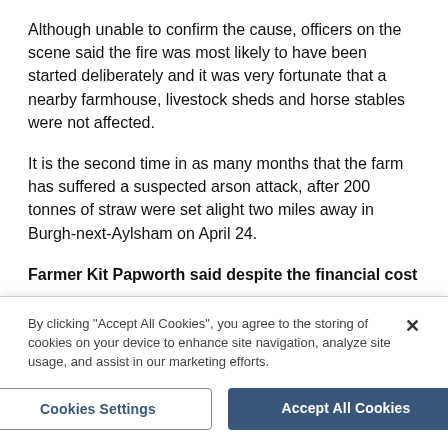Although unable to confirm the cause, officers on the scene said the fire was most likely to have been started deliberately and it was very fortunate that a nearby farmhouse, livestock sheds and horse stables were not affected.
It is the second time in as many months that the farm has suffered a suspected arson attack, after 200 tonnes of straw were set alight two miles away in Burgh-next-Aylsham on April 24.
Farmer Kit Papworth said despite the financial cost
By clicking "Accept All Cookies", you agree to the storing of cookies on your device to enhance site navigation, analyze site usage, and assist in our marketing efforts.
Cookies Settings
Accept All Cookies